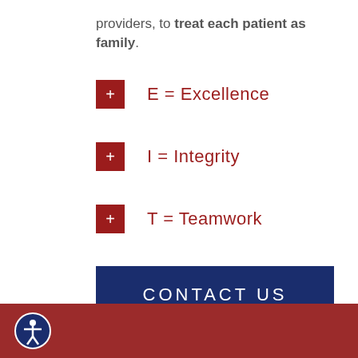providers, to treat each patient as family.
E = Excellence
I = Integrity
T = Teamwork
CONTACT US